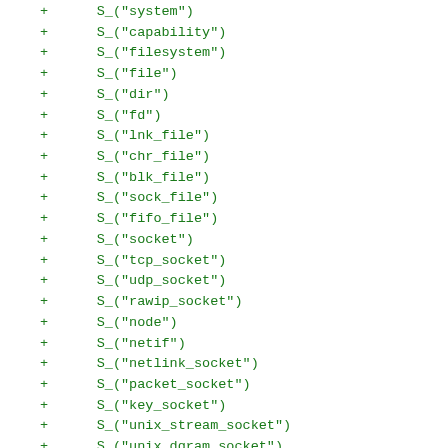+      S_("system")
+      S_("capability")
+      S_("filesystem")
+      S_("file")
+      S_("dir")
+      S_("fd")
+      S_("lnk_file")
+      S_("chr_file")
+      S_("blk_file")
+      S_("sock_file")
+      S_("fifo_file")
+      S_("socket")
+      S_("tcp_socket")
+      S_("udp_socket")
+      S_("rawip_socket")
+      S_("node")
+      S_("netif")
+      S_("netlink_socket")
+      S_("packet_socket")
+      S_("key_socket")
+      S_("unix_stream_socket")
+      S_("unix_dgram_socket")
+      S_("sem")
+      S_("msg")
+      S_("msgq")
+      S_("shm")